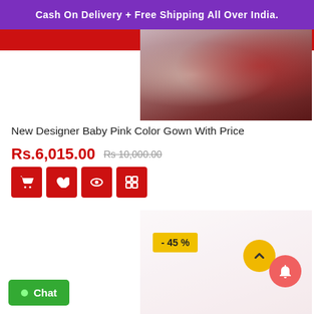Cash On Delivery + Free Shipping All Over India.
[Figure (photo): Product photo showing a dining/table setting with a wine glass and candle, partially visible, overlapping with a red banner]
New Designer Baby Pink Color Gown With Price
Rs.6,015.00  Rs 10,000.00
[Figure (screenshot): Four red action icon buttons: shopping cart, heart/wishlist, eye/quickview, compare]
[Figure (photo): Second product image - faded/washed out photo of a woman wearing a baby pink gown]
- 45 %